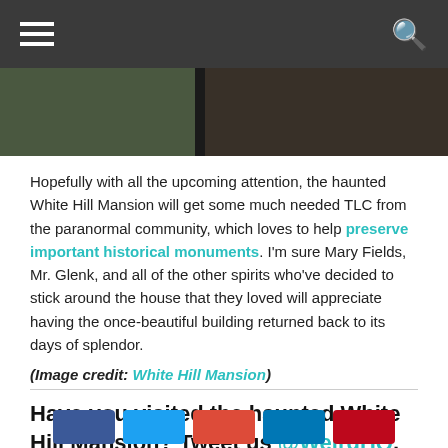Navigation bar with hamburger menu and search icon
[Figure (photo): Dark photo strip showing exterior of White Hill Mansion, split into two sections]
Hopefully with all the upcoming attention, the haunted White Hill Mansion will get some much needed TLC from the paranormal community, which loves to help preserve important historical monuments. I'm sure Mary Fields, Mr. Glenk, and all of the other spirits who've decided to stick around the house that they loved will appreciate having the once-beautiful building returned back to its days of splendor.
(Image credit: White Hill Mansion)
Have you visited the haunted White Hill Mansion? Tweet us @WeirdHQ, drop us a line on Facebook, and let us know what your experience was like!
[Figure (other): Row of social media share buttons: Facebook, Twitter, Google+, LinkedIn, Pinterest]